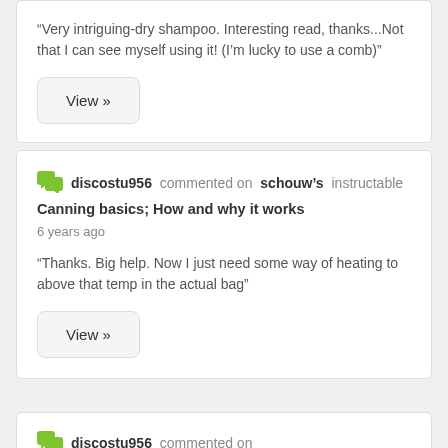“Very intriguing-dry shampoo. Interesting read, thanks...Not that I can see myself using it! (I’m lucky to use a comb)”
View »
discostu956 commented on schouw’s instructable Canning basics; How and why it works
6 years ago
“Thanks. Big help. Now I just need some way of heating to above that temp in the actual bag”
View »
discostu956 commented on [partially visible]